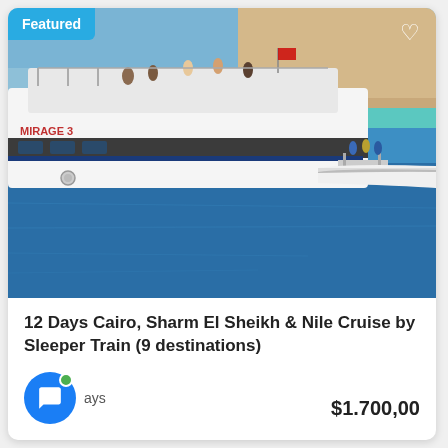[Figure (photo): A large white yacht named MIRAGE 3 docked at a sandy island in bright blue waters, with people on deck and a smaller white motorboat alongside.]
12 Days Cairo, Sharm El Sheikh & Nile Cruise by Sleeper Train (9 destinations)
days
$1.700,00